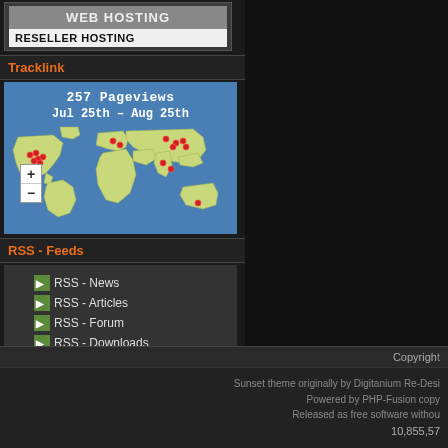[Figure (screenshot): Web Hosting / Reseller Hosting banner advertisement with grey background]
Tracklink
[Figure (map): World map showing 257 Pageviews from Jul 25th - Aug 25th with red dot markers on various locations]
RSS - Feeds
RSS - News
RSS - Articles
RSS - Forum
RSS - Downloads
RSS - Photo Gallery
RSS - Weblinks
Copyright
Sunset theme originally by Digitanium Re-Desi... Powered by PHP-Fusion copy... Released as free software withou... 10,855,57